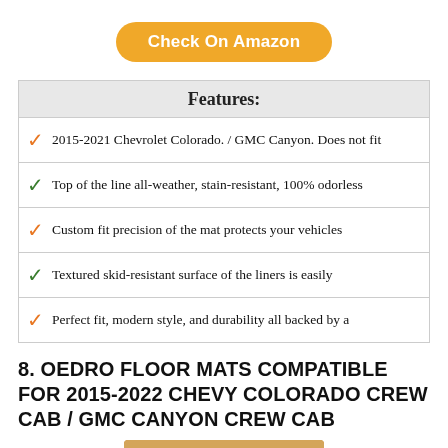[Figure (other): Orange rounded button labeled 'Check On Amazon']
Features:
2015-2021 Chevrolet Colorado. / GMC Canyon. Does not fit
Top of the line all-weather, stain-resistant, 100% odorless
Custom fit precision of the mat protects your vehicles
Textured skid-resistant surface of the liners is easily
Perfect fit, modern style, and durability all backed by a
8. OEDRO FLOOR MATS COMPATIBLE FOR 2015-2022 CHEVY COLORADO CREW CAB / GMC CANYON CREW CAB
[Figure (photo): Product photo of OEDRO floor mats in packaging box]